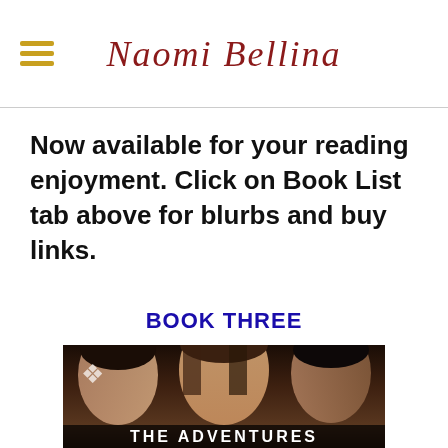Naomi Bellina
Now available for your reading enjoyment. Click on Book List tab above for blurbs and buy links.
BOOK THREE
[Figure (photo): Book cover for 'The Adventures' showing a woman with long brown hair in the center, a shirtless man on the left, and a dark-haired man on the right. Text at bottom reads 'THE ADVENTURES'.]